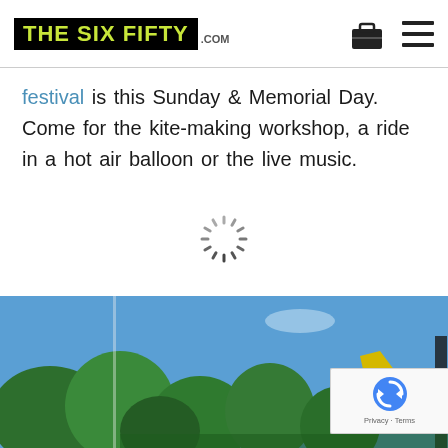The Six Fifty .com — navigation header with logo and icons
festival is this Sunday & Memorial Day. Come for the kite-making workshop, a ride in a hot air balloon or the live music.
[Figure (other): Loading spinner (circular progress indicator, gray dashes arranged in circle)]
[Figure (photo): Outdoor photo showing blue sky, trees with green foliage, and what appears to be a festival scene with a yellow kite or banner visible.]
[Figure (other): Google reCAPTCHA badge with the reCAPTCHA logo and 'Privacy - Terms' text]